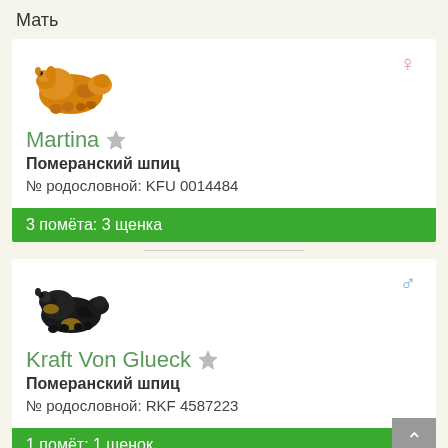Мать
[Figure (illustration): Photo of an orange Pomeranian dog lying down]
Martina ★
Померанский шпиц
№ родословной: KFU 0014484
3 помёта: 3 щенка
[Figure (illustration): Photo of a black and tan Pomeranian dog lying down]
Kraft Von Glueck ★
Померанский шпиц
№ родословной: RKF 4587223
1 помёт: 1 щенок